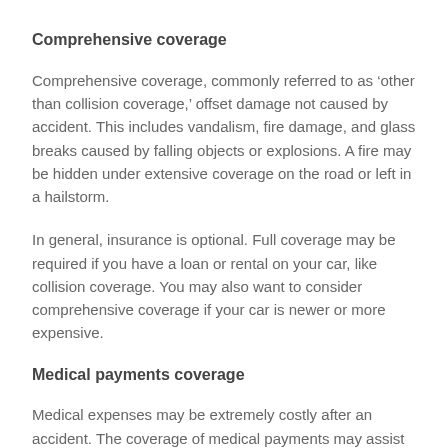Comprehensive coverage
Comprehensive coverage, commonly referred to as ‘other than collision coverage,’ offset damage not caused by accident. This includes vandalism, fire damage, and glass breaks caused by falling objects or explosions. A fire may be hidden under extensive coverage on the road or left in a hailstorm.
In general, insurance is optional. Full coverage may be required if you have a loan or rental on your car, like collision coverage. You may also want to consider comprehensive coverage if your car is newer or more expensive.
Medical payments coverage
Medical expenses may be extremely costly after an accident. The coverage of medical payments may assist pay medical expenses for the covered accident, irrespective of who is to blame. The coverage of medical expenses covers injuries to you